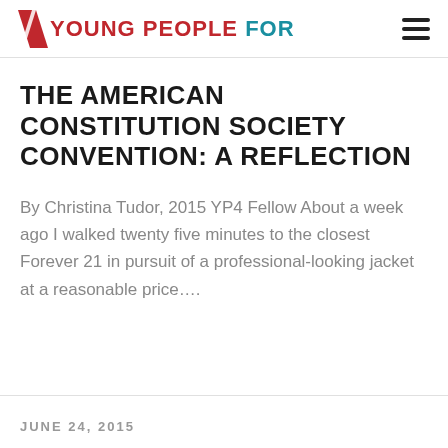YOUNG PEOPLE FOR
THE AMERICAN CONSTITUTION SOCIETY CONVENTION: A REFLECTION
By Christina Tudor, 2015 YP4 Fellow About a week ago I walked twenty five minutes to the closest Forever 21 in pursuit of a professional-looking jacket at a reasonable price....
JUNE 24, 2015